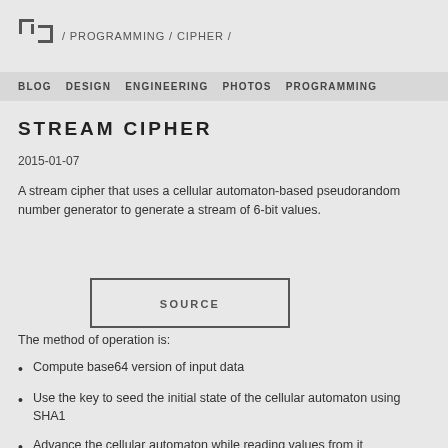/ PROGRAMMING / CIPHER /
BLOG DESIGN ENGINEERING PHOTOS PROGRAMMING
STREAM CIPHER
2015-01-07
A stream cipher that uses a cellular automaton-based pseudorandom number generator to generate a stream of 6-bit values.
[Figure (other): SOURCE button — a rectangular bordered button with the label SOURCE]
The method of operation is:
Compute base64 version of input data
Use the key to seed the initial state of the cellular automaton using SHA1
Advance the cellular automaton while reading values from it
Add those pseudorandom values to 6-bit blocks of the data,